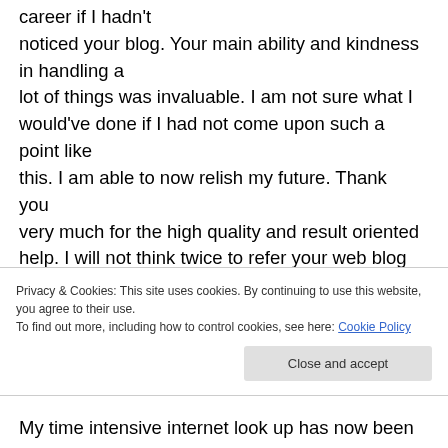career if I hadn't noticed your blog. Your main ability and kindness in handling a lot of things was invaluable. I am not sure what I would've done if I had not come upon such a point like this. I am able to now relish my future. Thank you very much for the high quality and result oriented help. I will not think twice to refer your web blog
Privacy & Cookies: This site uses cookies. By continuing to use this website, you agree to their use. To find out more, including how to control cookies, see here: Cookie Policy
My time intensive internet look up has now been